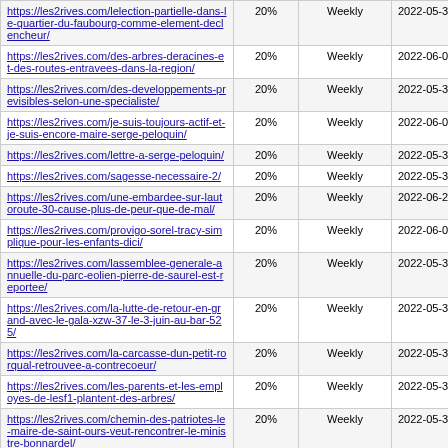| https://les2rives.com/lelection-partielle-dans-le-quartier-du-faubourg-comme-element-declencheur/ | 20% | Weekly | 2022-05-31 12:26 |
| https://les2rives.com/des-arbres-deracines-et-des-routes-entravees-dans-la-region/ | 20% | Weekly | 2022-06-01 12:25 |
| https://les2rives.com/des-developpements-previsibles-selon-une-specialiste/ | 20% | Weekly | 2022-05-31 12:15 |
| https://les2rives.com/je-suis-toujours-actif-et-je-suis-encore-maire-serge-peloquin/ | 20% | Weekly | 2022-06-01 12:25 |
| https://les2rives.com/lettre-a-serge-peloquin/ | 20% | Weekly | 2022-05-31 12:15 |
| https://les2rives.com/sagesse-necessaire-2/ | 20% | Weekly | 2022-05-31 12:03 |
| https://les2rives.com/une-embardee-sur-lautoroute-30-cause-plus-de-peur-que-de-mal/ | 20% | Weekly | 2022-06-28 12:23 |
| https://les2rives.com/provigo-sorel-tracy-simplique-pour-les-enfants-dici/ | 20% | Weekly | 2022-06-01 12:26 |
| https://les2rives.com/lassemblee-generale-annuelle-du-parc-eolien-pierre-de-saurel-est-reportee/ | 20% | Weekly | 2022-05-31 12:14 |
| https://les2rives.com/la-lutte-de-retour-en-grand-avec-le-gala-xzw-37-le-3-juin-au-bar-525/ | 20% | Weekly | 2022-05-30 00:35 |
| https://les2rives.com/la-carcasse-dun-petit-rorqual-retrouvee-a-contrecoeur/ | 20% | Weekly | 2022-05-31 14:16 |
| https://les2rives.com/les-parents-et-les-employes-de-lesf1-plantent-des-arbres/ | 20% | Weekly | 2022-05-30 20:34 |
| https://les2rives.com/chemin-des-patriotes-le-maire-de-saint-ours-veut-rencontrer-le-ministre-bonnardel/ | 20% | Weekly | 2022-05-30 19:29 |
| https://les2rives.com/la-campagne-de-... | 20% | Weekly | 2022-05-26 |